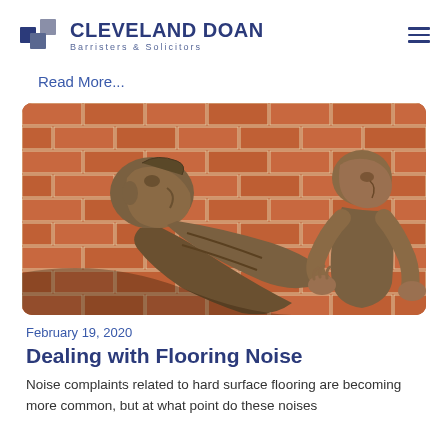CLEVELAND DOAN Barristers & Solicitors
Read More...
[Figure (photo): Two bronze statues of human figures appearing to press against or lean through a red brick wall, viewed from the side. One figure leans forward with head turned sideways against the wall, the other stands upright with hands against the wall to the right.]
February 19, 2020
Dealing with Flooring Noise
Noise complaints related to hard surface flooring are becoming more common, but at what point do these noises